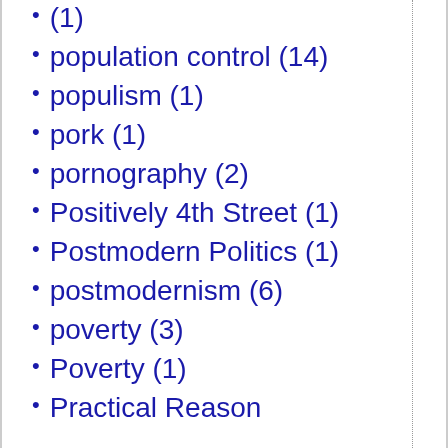(1)
population control (14)
populism (1)
pork (1)
pornography (2)
Positively 4th Street (1)
Postmodern Politics (1)
postmodernism (6)
poverty (3)
Poverty (1)
Practical Reason